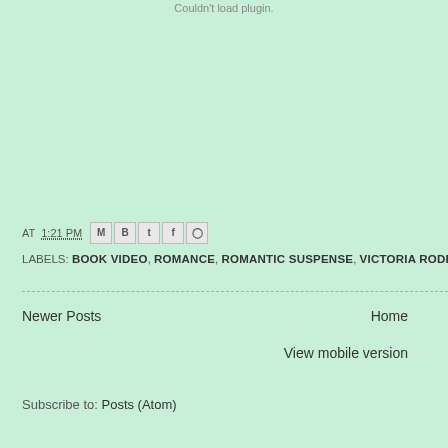Couldn't load plugin.
AT 1:21 PM [share icons: Gmail, Blogger, Twitter, Facebook, Pinterest]
LABELS: BOOK VIDEO, ROMANCE, ROMANTIC SUSPENSE, VICTORIA RODER
Newer Posts
Home
View mobile version
Subscribe to: Posts (Atom)